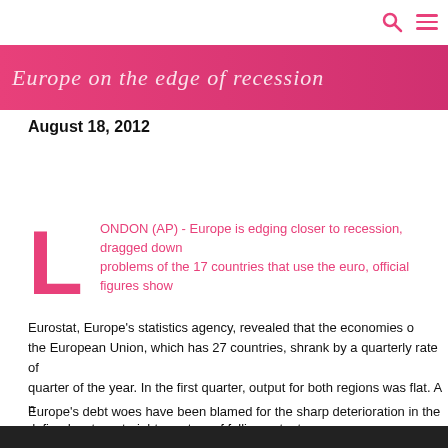Europe on the edge of recession
August 18, 2012
LONDON (AP) - Europe is edging closer to recession, dragged down by the problems of the 17 countries that use the euro, official figures show.
Eurostat, Europe's statistics agency, revealed that the economies of the European Union, which has 27 countries, shrank by a quarterly rate of 0. quarter of the year. In the first quarter, output for both regions was flat. A r defined as two straight quarters of falling output.
Europe's debt woes have been blamed for the sharp deterioration in the glo over the last few months. The region is the U.S.'s largest export customer a will hit order books - as well as President Barack Obama's election prospec